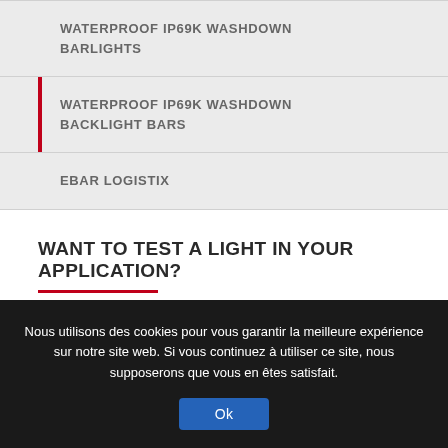WATERPROOF IP69K WASHDOWN BARLIGHTS
WATERPROOF IP69K WASHDOWN BACKLIGHT BARS
EBAR LOGISTIX
WANT TO TEST A LIGHT IN YOUR APPLICATION?
Contact us to arrange your free loan at:
Nous utilisons des cookies pour vous garantir la meilleure expérience sur notre site web. Si vous continuez à utiliser ce site, nous supposerons que vous en êtes satisfait.